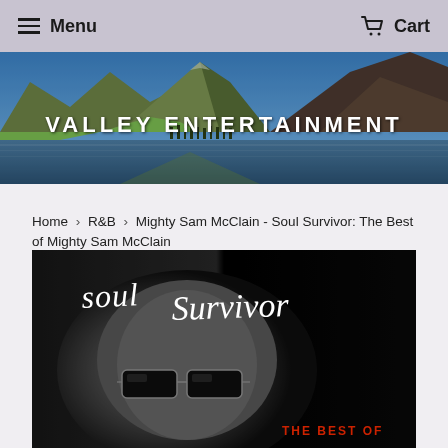Menu   Cart
[Figure (photo): Valley Entertainment banner — mountain landscape with lake and text 'VALLEY ENTERTAINMENT']
Home › R&B › Mighty Sam McClain - Soul Survivor: The Best of Mighty Sam McClain
[Figure (photo): Album cover art for Soul Survivor: The Best of Mighty Sam McClain — black and white photo of man wearing sunglasses, handwritten text 'soul Survivor' in white, 'THE BEST OF' in red at bottom right]